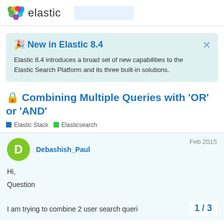elastic
🎉 New in Elastic 8.4
Elastic 8.4 introduces a broad set of new capabilities to the Elastic Search Platform and its three built-in solutions.
🔒 Combining Multiple Queries with 'OR' or 'AND'
Elastic Stack   Elasticsearch
Debashish_Paul   Feb 2015
Hi,
Question

I am trying to combine 2 user search queri
1 / 3